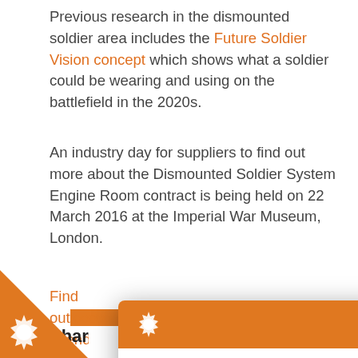Previous research in the dismounted soldier area includes the Future Soldier Vision concept which shows what a soldier could be wearing and using on the battlefield in the 2020s.
An industry day for suppliers to find out more about the Dismounted Soldier System Engine Room contract is being held on 22 March 2016 at the Imperial War Museum, London.
Find out [about this event and how to register to] attend.
Share
Cor[nments]
[Figure (screenshot): Cookie consent modal dialog with orange header containing gear icon and X close button. Body text: 'This site uses cookies to store information on your computer. Some of these cookies are essential to make our site work and others help us to improve by giving us some insight into how the site is being used.' Green button: 'I'm fine with this'.]
[Figure (logo): Orange triangular corner badge with white gear/cogwheel icon in bottom-left corner of page.]